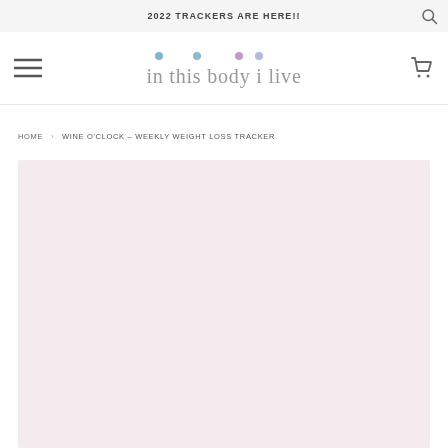2022 TRACKERS ARE HERE!!
[Figure (logo): in this body i live logo with colored dots above letters]
HOME › WINE O'CLOCK – WEEKLY WEIGHT LOSS TRACKER
[Figure (photo): Product image area with light pink/mauve background, product not fully visible]